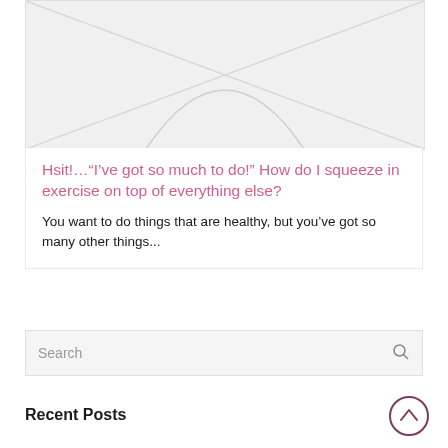[Figure (photo): Placeholder image with diagonal lines forming an X pattern on a light gray background]
Hsit!…“I’ve got so much to do!” How do I squeeze in exercise on top of everything else?
You want to do things that are healthy, but you’ve got so many other things...
Search
Recent Posts